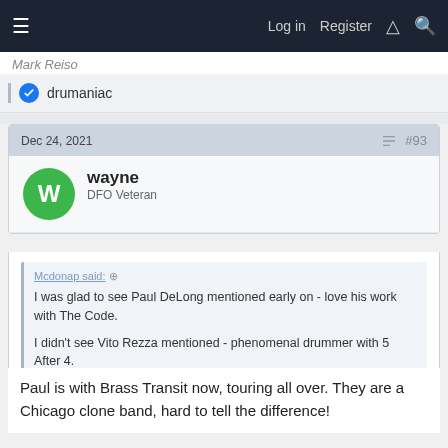Log in  Register
Mark Reiso
drumaniac
Dec 24, 2021  #93
wayne
DFO Veteran
Mcdonap said:
I was glad to see Paul DeLong mentioned early on - love his work with The Code.
I didn't see Vito Rezza mentioned - phenomenal drummer with 5 After 4.
Paul is with Brass Transit now, touring all over. They are a Chicago clone band, hard to tell the difference!